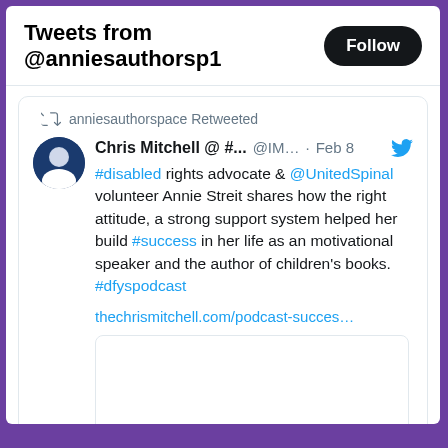Tweets from @anniesauthorsp1
anniesauthorspace Retweeted
Chris Mitchell @ #...  @IM...  · Feb 8
#disabled rights advocate & @UnitedSpinal volunteer Annie Streit shares how the right attitude, a strong support system helped her build #success in her life as an motivational speaker and the author of children's books. #dfyspodcast
thechrismitchell.com/podcast-succes…
[Figure (screenshot): Empty image preview box with rounded border]